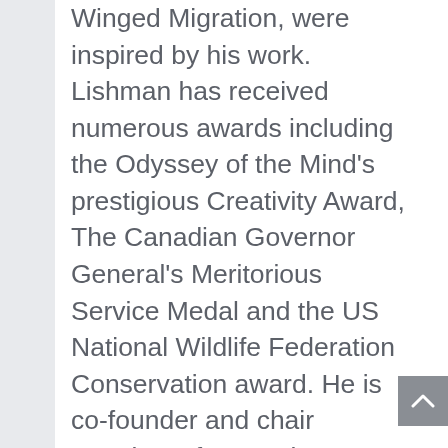Winged Migration, were inspired by his work. Lishman has received numerous awards including the Odyssey of the Mind's prestigious Creativity Award, The Canadian Governor General's Meritorious Service Medal and the US National Wildlife Federation Conservation award. He is co-founder and chair emeritus of Operation Migration, the organization that plays the key role in